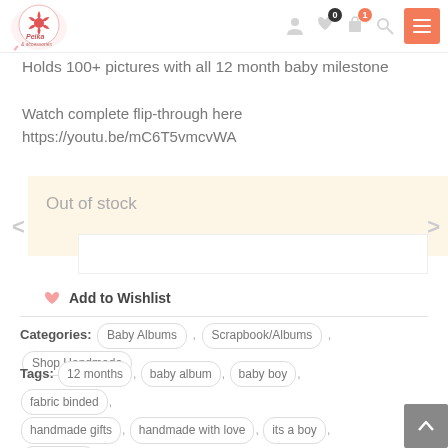Peika logo and navigation icons
Holds 100+ pictures with all 12 month baby milestone
Watch complete flip-through here
https://youtu.be/mC6T5vmcvWA
Out of stock
Add to Wishlist
Categories: Baby Albums , Scrapbook/Albums , Shop Handmade
Tags: 12 months , baby album , baby boy , fabric binded , handmade gifts , handmade with love , its a boy , milestones , oh boy , photo album  SKU: PLOBBA